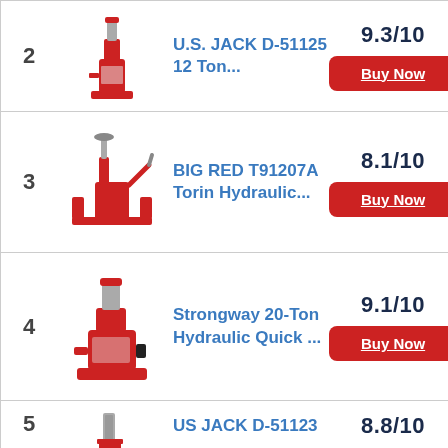2 | U.S. JACK D-51125 12 Ton... | 9.3/10 | Buy Now
3 | BIG RED T91207A Torin Hydraulic... | 8.1/10 | Buy Now
4 | Strongway 20-Ton Hydraulic Quick ... | 9.1/10 | Buy Now
5 | US JACK D-51123 | 8.8/10